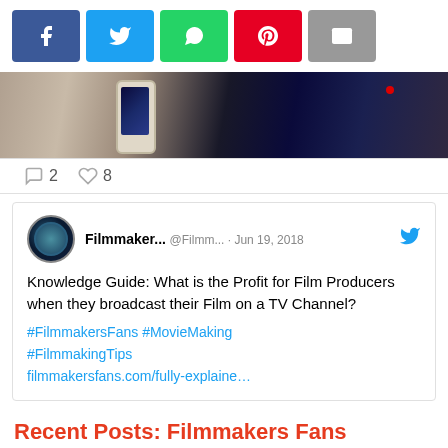[Figure (screenshot): Social media share bar with Facebook, Twitter, WhatsApp, Pinterest, and Email buttons]
[Figure (photo): Cropped photo of a smartphone on a stand recording something with blue-lit background]
2  8
[Figure (screenshot): Tweet from Filmmaker... @Filmm... Jun 19, 2018 saying: Knowledge Guide: What is the Profit for Film Producers when they broadcast their Film on a TV Channel? #FilmmakersFans #MovieMaking #FilmmakingTips filmmakersfans.com/fully-explaine...]
Recent Posts: Filmmakers Fans
Mumbai Academy of Moving Image is Looking for Applicants for Critics Lab 2018